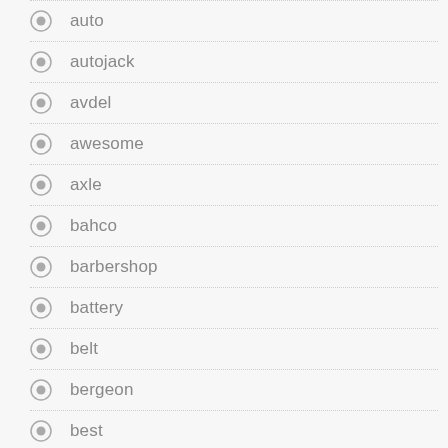auto
autojack
avdel
awesome
axle
bahco
barbershop
battery
belt
bergeon
best